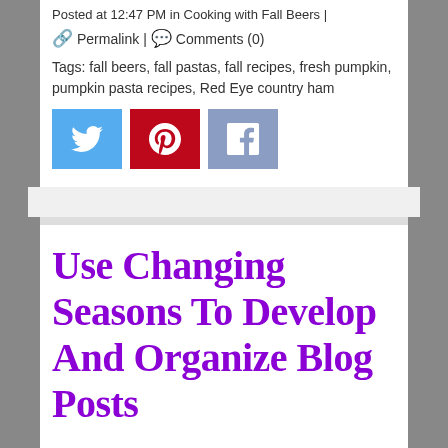Posted at 12:47 PM in Cooking with Fall Beers |
🔗 Permalink | 💬 Comments (0)
Tags: fall beers, fall pastas, fall recipes, fresh pumpkin, pumpkin pasta recipes, Red Eye country ham
[Figure (infographic): Three social media share buttons: Twitter (blue), Pinterest (red), Facebook (slate blue)]
Use Changing Seasons To Develop And Organize Blog Posts
Organization is a forced trait to a